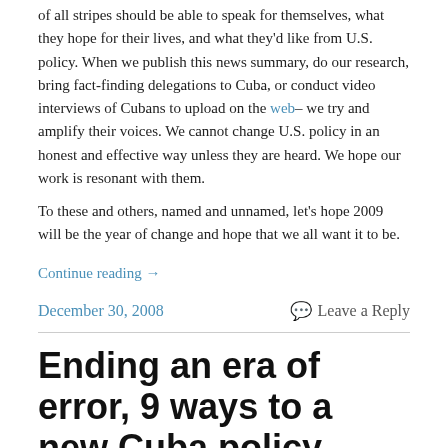of all stripes should be able to speak for themselves, what they hope for their lives, and what they'd like from U.S. policy.  When we publish this news summary, do our research, bring fact-finding delegations to Cuba, or conduct video interviews of Cubans to upload on the web– we try and amplify their voices.  We cannot change U.S. policy in an honest and effective way unless they are heard.  We hope our work is resonant with them.
To these and others, named and unnamed, let's hope 2009 will be the year of change and hope that we all want it to be.
Continue reading →
December 30, 2008
Leave a Reply
Ending an era of error, 9 ways to a new Cuba policy
Dear Friend:
Happy Holidays!